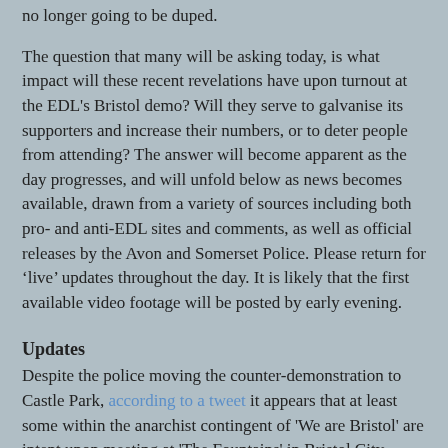no longer going to be duped.
The question that many will be asking today, is what impact will these recent revelations have upon turnout at the EDL's Bristol demo? Will they serve to galvanise its supporters and increase their numbers, or to deter people from attending? The answer will become apparent as the day progresses, and will unfold below as news becomes available, drawn from a variety of sources including both pro- and anti-EDL sites and comments, as well as official releases by the Avon and Somerset Police. Please return for ‘live’ updates throughout the day. It is likely that the first available video footage will be posted by early evening.
Updates
Despite the police moving the counter-demonstration to Castle Park, according to a tweet it appears that at least some within the anarchist contingent of 'We are Bristol' are intent upon meeting at 'The Fountains' in Bristol City Centre at 11.00am.
As the EDL demo is not due to start until 1.00pm and the opposition officially-sanctioned protest started at 11.00am, it is not yet (as of 12.07) clear as to the likely turnout for the EDL